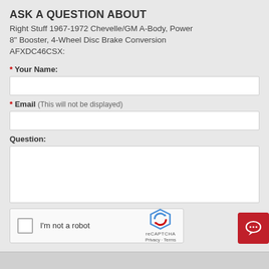ASK A QUESTION ABOUT
Right Stuff 1967-1972 Chevelle/GM A-Body, Power 8" Booster, 4-Wheel Disc Brake Conversion AFXDC46CSX:
* Your Name:
* Email (This will not be displayed)
Question:
[Figure (other): reCAPTCHA widget with checkbox labeled 'I'm not a robot', reCAPTCHA logo, Privacy and Terms links]
[Figure (other): Red chat button with speech bubble icon in bottom right corner]